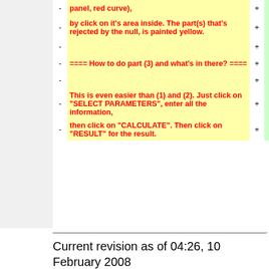| - | deleted | + | added |
| --- | --- | --- | --- |
| - | panel, red curve), | + |  |
| - | by click on it's area inside. The part(s) that's rejected by the null, is painted yellow. | + |  |
| - |  | + |  |
| - | ==== How to do part (3) and what's in there? ==== | + |  |
| - |  | + |  |
| - | This is even easier than (1) and (2). Just click on "SELECT PARAMETERS", enter all the information, | + |  |
| - | then click on "CALCULATE". Then click on "RESULT" for the result. | + |  |
Current revision as of 04:26, 10 February 2008